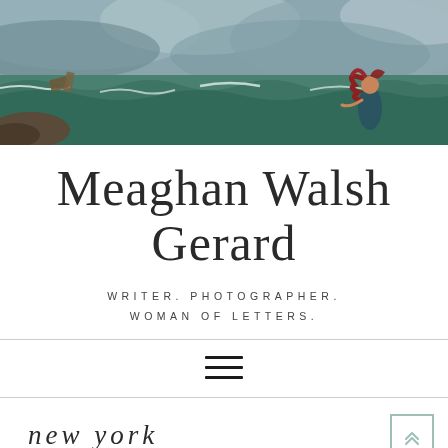[Figure (illustration): Romantic painting of a woman with red hair in a dark teal dress standing on a stormy seashore, waves crashing, possibly with a shipwreck in background]
Meaghan Walsh Gerard
WRITER. PHOTOGRAPHER. WOMAN OF LETTERS.
[Figure (other): Hamburger menu navigation icon — three horizontal lines]
new york
[Figure (photo): Partial photo visible at bottom of page, appears to be a vintage or historical image]